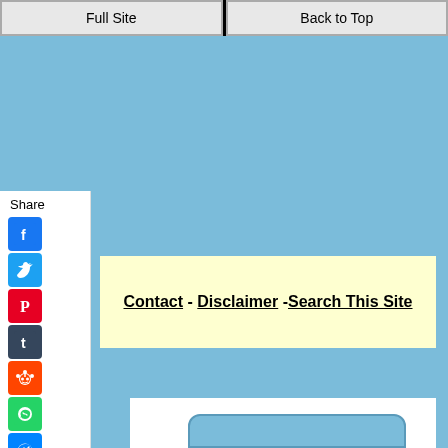Full Site | Back to Top
[Figure (screenshot): Light blue background area at top of page]
Share
[Figure (infographic): Social sharing icons: Facebook, Twitter, Pinterest, Tumblr, Reddit, WhatsApp, Messenger]
Contact - Disclaimer - Search This Site
[Figure (screenshot): Light blue and white bottom content area with rounded rectangle]